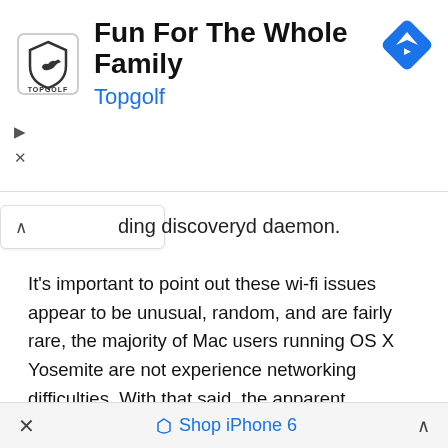[Figure (screenshot): Topgolf advertisement banner with logo, title 'Fun For The Whole Family', subtitle 'Topgolf', and a blue navigation/directions icon in the top right. Ad controls (play and X) visible on the left side.]
ding discoveryd daemon.
It's important to point out these wi-fi issues appear to be unusual, random, and are fairly rare, the majority of Mac users running OS X Yosemite are not experience networking difficulties. With that said, the apparent randomness of networking problems with some Macs running OS X Yosemite could suggest compatibility issues with particular routers, issues with some wireless networks, or issues related to various environmental conditions, making the problem increasingly difficult to narrow down and troubleshoot beyond the software
× Shop iPhone 6 ∧